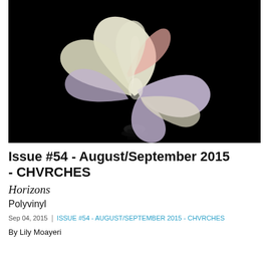[Figure (photo): Abstract 3D rendered sculpture resembling a star or flower shape made of smooth curved surfaces in pastel colors (cream, lavender, peach) against a black background, with a subtle reflection below]
Issue #54 - August/September 2015 - CHVRCHES
Horizons
Polyvinyl
Sep 04, 2015  |  ISSUE #54 - AUGUST/SEPTEMBER 2015 - CHVRCHES
By Lily Moayeri